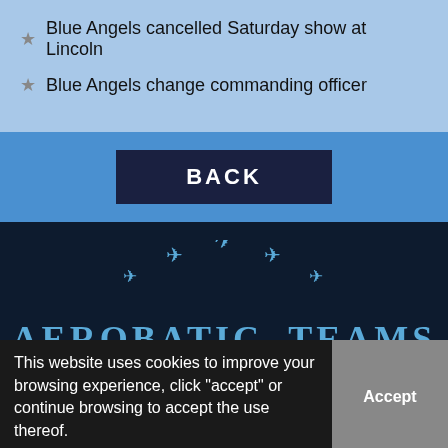Blue Angels cancelled Saturday show at Lincoln
Blue Angels change commanding officer
BACK
[Figure (illustration): Five airplane silhouettes arranged in an arc formation]
AEROBATIC TEAMS
Home   News   Gallery
Contacts   Military Aerobatic   Schedules
Civil Aerobatic Teams   Air Show Rena
This website uses cookies to improve your browsing experience, click "accept" or continue browsing to accept the use thereof.